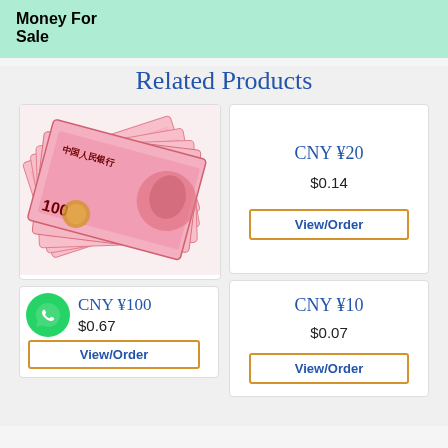Money For Sale
Related Products
[Figure (photo): Fan of Chinese 100 yuan renminbi banknotes spread out]
CNY ¥100
$0.67
View/Order
CNY ¥20
$0.14
View/Order
CNY ¥10
$0.07
View/Order